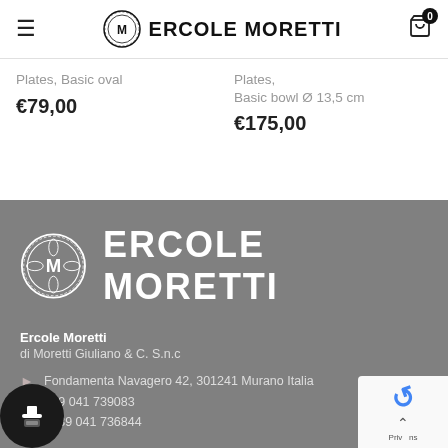ERCOLE MORETTI
Plates, Basic oval
€79,00
Plates, Basic bowl Ø 13,5 cm
€175,00
[Figure (logo): Ercole Moretti logo — circular ornate emblem with M in centre, with brand name text]
Ercole Moretti
di Moretti Giuliano & C. S.n.c
Fondamenta Navagero 42, 301241 Murano Italia
+39 041 739083
: +39 041 736844